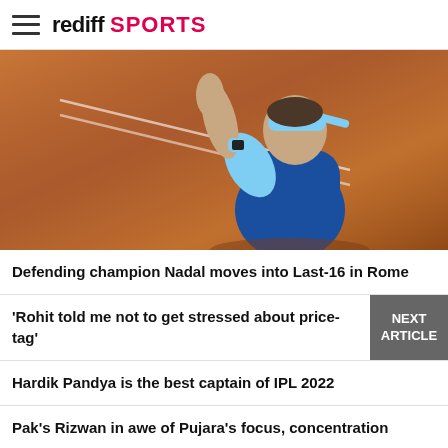rediff SPORTS
[Figure (photo): Tennis player on clay court wearing light blue headband and blue shirt, arm raised, celebrating at Rome tournament]
Defending champion Nadal moves into Last-16 in Rome
'Rohit told me not to get stressed about price-tag'
Hardik Pandya is the best captain of IPL 2022
Pak's Rizwan in awe of Pujara's focus, concentration